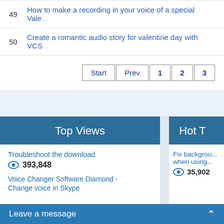49  How to make a recording in your voice of a special Vale...
50  Create a romantic audio story for valentine day with VCS...
Start  Prev  1  2  3
Top Views
Hot T...
Troubleshoot the download
393,848
Voice Changer Software Diamond - Change voice in Skype
Fix backgrou... when using...
35,902
Leave a message